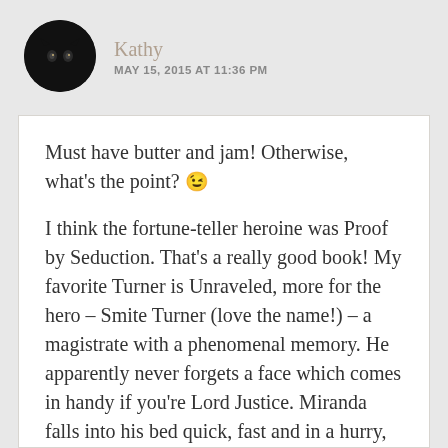[Figure (photo): Circular avatar photo of a black cat on dark background]
Kathy
MAY 15, 2015 AT 11:36 PM
Must have butter and jam! Otherwise, what's the point? 😉

I think the fortune-teller heroine was Proof by Seduction. That's a really good book! My favorite Turner is Unraveled, more for the hero – Smite Turner (love the name!) – a magistrate with a phenomenal memory. He apparently never forgets a face which comes in handy if you're Lord Justice. Miranda falls into his bed quick, fast and in a hurry, and